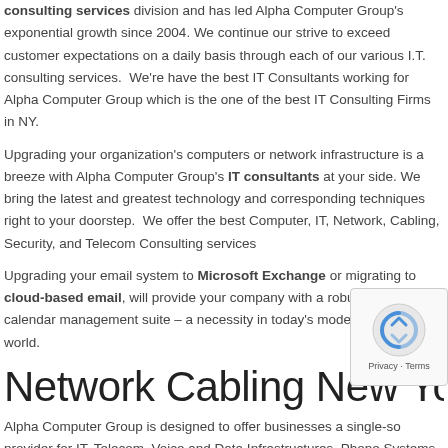consulting services division and has led Alpha Computer Group's exponential growth since 2004. We continue our strive to exceed customer expectations on a daily basis through each of our various I.T. consulting services.  We're have the best IT Consultants working for Alpha Computer Group which is the one of the best IT Consulting Firms in NY.
Upgrading your organization's computers or network infrastructure is a breeze with Alpha Computer Group's IT consultants at your side. We bring the latest and greatest technology and corresponding techniques right to your doorstep.  We offer the best Computer, IT, Network, Cabling, Security, and Telecom Consulting services
Upgrading your email system to Microsoft Exchange or migrating to cloud-based email, will provide your company with a robust email and calendar management suite – a necessity in today's modern, mobile world.
Network Cabling New York
Alpha Computer Group is designed to offer businesses a single-source provider for IT, Telecom, Voice and Data Infrastructures, Phone Systems,